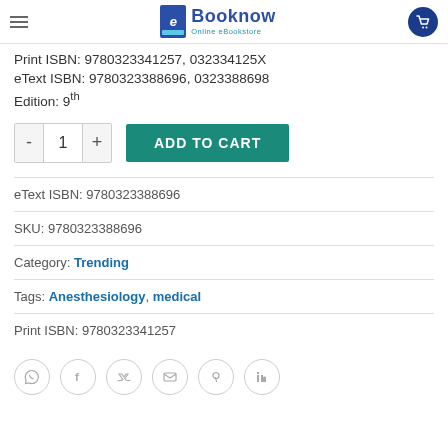Booknow Online eBookstore
Print ISBN: 9780323341257, 032334125X
eText ISBN: 9780323388696, 0323388698
Edition: 9th
ADD TO CART
eText ISBN: 9780323388696
SKU: 9780323388696
Category: Trending
Tags: Anesthesiology, medical
Print ISBN: 9780323341257